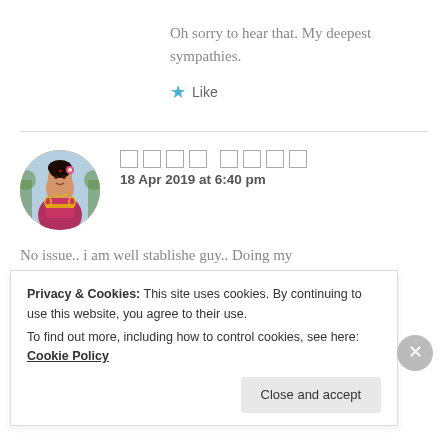Oh sorry to hear that. My deepest sympathies.
★ Like
[Figure (photo): Circular avatar of a woman in traditional South Asian attire with jewelry and floral decoration]
□□□□ □□□□
18 Apr 2019 at 6:40 pm
No issue.. i am well stablishe guy.. Doing my
Privacy & Cookies: This site uses cookies. By continuing to use this website, you agree to their use.
To find out more, including how to control cookies, see here: Cookie Policy
Close and accept